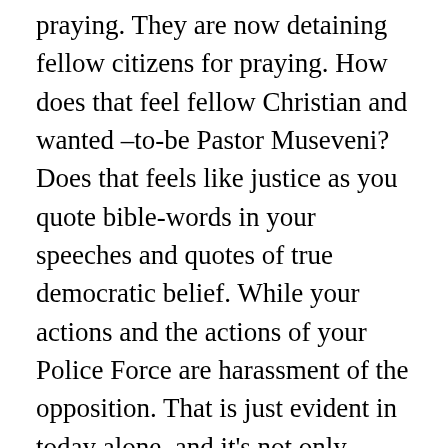praying. They are now detaining fellow citizens for praying. How does that feel fellow Christian and wanted –to-be Pastor Museveni? Does that feels like justice as you quote bible-words in your speeches and quotes of true democratic belief. While your actions and the actions of your Police Force are harassment of the opposition. That is just evident in today alone, and it's not only happen today. It's been a theme through your whole rule the only difference now is that the International media and world can get the information and you cannot supress it.
So in Uganda you have no right to prayer and the Police can detain you for praying. If it is